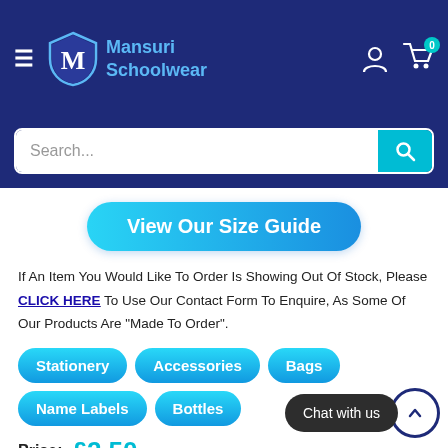Mansuri Schoolwear
[Figure (screenshot): Search bar with teal search button]
[Figure (other): View Our Size Guide button (blue rounded pill)]
If An Item You Would Like To Order Is Showing Out Of Stock, Please CLICK HERE To Use Our Contact Form To Enquire, As Some Of Our Products Are "Made To Order".
Stationery
Accessories
Bags
Name Labels
Bottles
Price: £2.50
[Figure (other): Chat with us widget in bottom right corner]